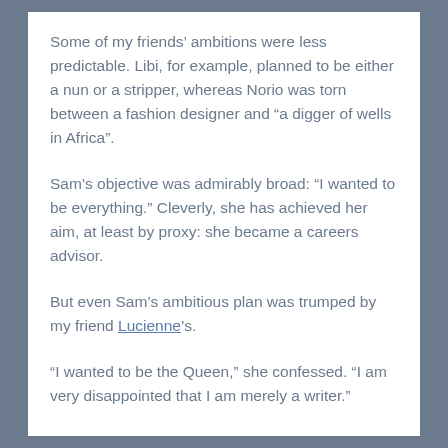Some of my friends' ambitions were less predictable. Libi, for example, planned to be either a nun or a stripper, whereas Norio was torn between a fashion designer and “a digger of wells in Africa”.
Sam’s objective was admirably broad: “I wanted to be everything.” Cleverly, she has achieved her aim, at least by proxy: she became a careers advisor.
But even Sam’s ambitious plan was trumped by my friend Lucienne’s.
“I wanted to be the Queen,” she confessed. “I am very disappointed that I am merely a writer.”
Well, that’s put me in my place!